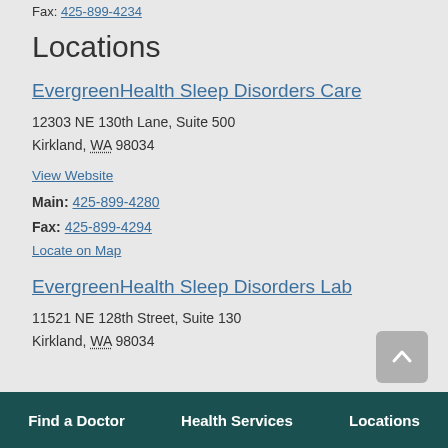Fax: 425-899-4234
Locations
EvergreenHealth Sleep Disorders Care
12303 NE 130th Lane, Suite 500
Kirkland, WA 98034
View Website
Main: 425-899-4280
Fax: 425-899-4294
Locate on Map
EvergreenHealth Sleep Disorders Lab
11521 NE 128th Street, Suite 130
Kirkland, WA 98034
Find a Doctor   Health Services   Locations